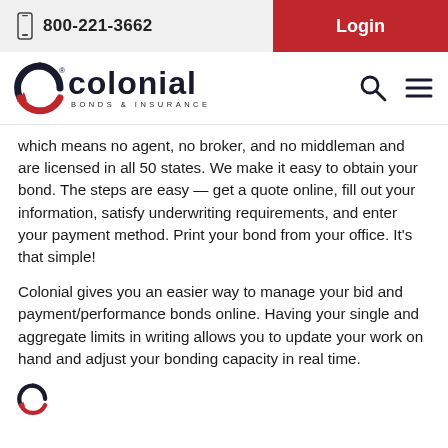800-221-3662   Login
[Figure (logo): Colonial Bonds & Insurance logo with circular arrow icon]
which means no agent, no broker, and no middleman and are licensed in all 50 states. We make it easy to obtain your bond. The steps are easy — get a quote online, fill out your information, satisfy underwriting requirements, and enter your payment method. Print your bond from your office. It's that simple!
Colonial gives you an easier way to manage your bid and payment/performance bonds online. Having your single and aggregate limits in writing allows you to update your work on hand and adjust your bonding capacity in real time.
[Figure (logo): Small Colonial Bonds & Insurance circular arrow icon]